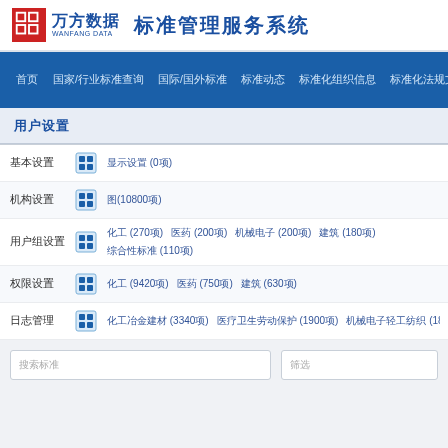万方数据 WANFANG DATA 标准管理服务系统
首页 国家/行业标准查询 国际/国外标准 标准动态 标准化组织信息 标准化法规文献 更多
用户设置
基本设置  图  显示设置 (0项)
机构设置  图  图(10800项)
用户组设置  图  化工 (270项)  医药 (200项)  机械电子 (200项)  建筑 (180项)  综合性标准 (110项)
权限设置  图  化工 (9420项)  医药 (750项)  建筑 (630项)
日志管理  图  化工冶金建材 (3340项)  医疗卫生劳动保护 (1900项)  机械电子轻工纺织 (1860项)  ...